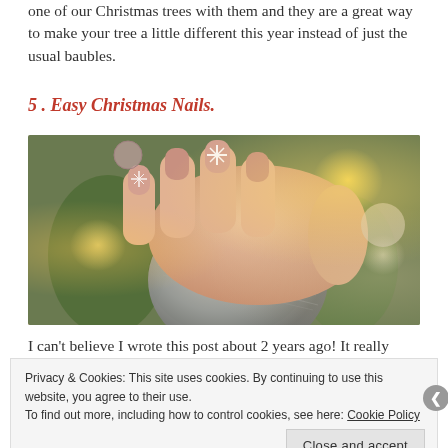one of our Christmas trees with them and they are a great way to make your tree a little different this year instead of just the usual baubles.
5 . Easy Christmas Nails.
[Figure (photo): Close-up photo of a hand with Christmas-themed nail art (snowflake designs on nude/pink nails) holding a silver glitter ornament, with bokeh Christmas tree lights in background.]
I can't believe I wrote this post about 2 years ago! It really
Privacy & Cookies: This site uses cookies. By continuing to use this website, you agree to their use.
To find out more, including how to control cookies, see here: Cookie Policy
Close and accept